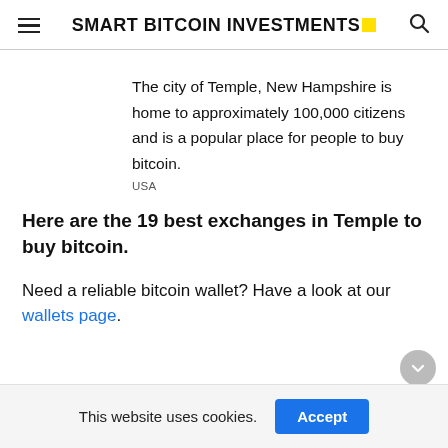SMART BITCOIN INVESTMENTS
The city of Temple, New Hampshire is home to approximately 100,000 citizens and is a popular place for people to buy bitcoin.
USA
Here are the 19 best exchanges in Temple to buy bitcoin.
Need a reliable bitcoin wallet? Have a look at our wallets page.
This website uses cookies.